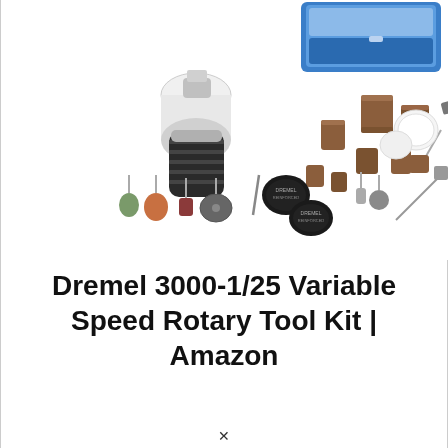[Figure (photo): Product photo of Dremel 3000-1/25 Variable Speed Rotary Tool Kit showing the rotary tool body, various attachments including sanding drums, grinding stones, cutting discs, polishing wheel, wrench, and a blue storage case with accessories laid out on white background.]
Dremel 3000-1/25 Variable Speed Rotary Tool Kit | Amazon